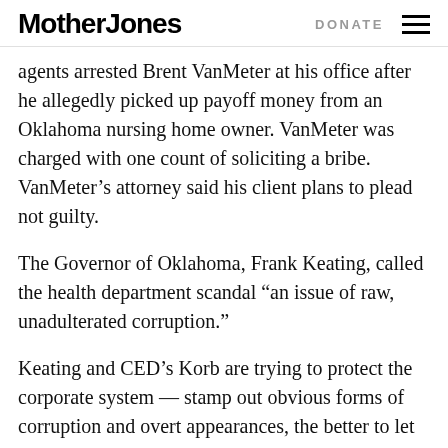Mother Jones  DONATE
agents arrested Brent VanMeter at his office after he allegedly picked up payoff money from an Oklahoma nursing home owner. VanMeter was charged with one count of soliciting a bribe. VanMeter's attorney said his client plans to plead not guilty.
The Governor of Oklahoma, Frank Keating, called the health department scandal “an issue of raw, unadulterated corruption.”
Keating and CED’s Korb are trying to protect the corporate system — stamp out obvious forms of corruption and overt appearances, the better to let corporations rule.